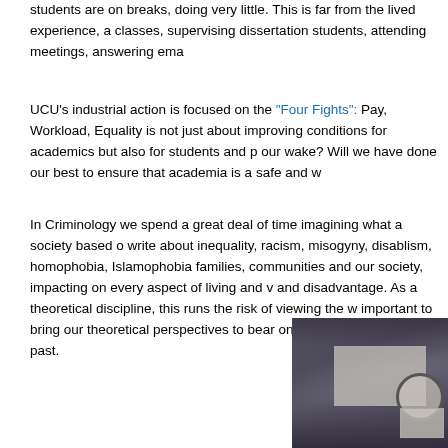students are on breaks, doing very little. This is far from the lived experience, a classes, supervising dissertation students, attending meetings, answering ema
UCU's industrial action is focused on the "Four Fights": Pay, Workload, Equality is not just about improving conditions for academics but also for students and p our wake? Will we have done our best to ensure that academia is a safe and w
In Criminology we spend a great deal of time imagining what a society based o write about inequality, racism, misogyny, disablism, homophobia, Islamophobia families, communities and our society, impacting on every aspect of living and v and disadvantage. As a theoretical discipline, this runs the risk of viewing the w important to bring our theoretical perspectives to bear on real world problems. A past.
[Figure (photo): Dark photograph showing what appears to be an outdoor area with signs, including a circular clock or sign element visible on the right side, dark brick or wall surface in background]